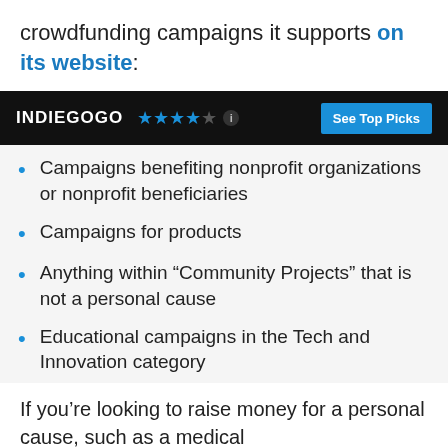crowdfunding campaigns it supports on its website:
[Figure (screenshot): Indiegogo website header bar with logo, 4.5 star rating, info icon, and 'See Top Picks' button]
Campaigns benefiting nonprofit organizations or nonprofit beneficiaries
Campaigns for products
Anything within “Community Projects” that is not a personal cause
Educational campaigns in the Tech and Innovation category
If you’re looking to raise money for a personal cause, such as a medical